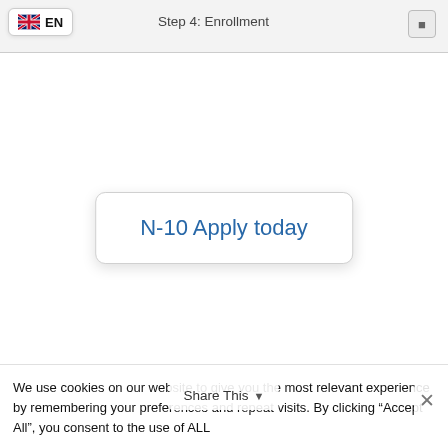Step 4: Enrollment
EN
N-10 Apply today
We use cookies on our website to give you the most relevant experience by remembering your preferences and repeat visits. By clicking "Accept All", you consent to the use of ALL
Share This